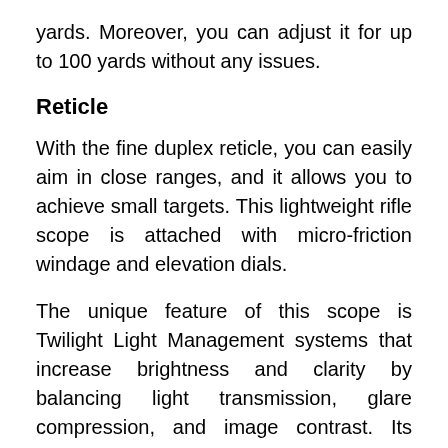yards. Moreover, you can adjust it for up to 100 yards without any issues.
Reticle
With the fine duplex reticle, you can easily aim in close ranges, and it allows you to achieve small targets. This lightweight rifle scope is attached with micro-friction windage and elevation dials.
The unique feature of this scope is Twilight Light Management systems that increase brightness and clarity by balancing light transmission, glare compression, and image contrast. Its resolution ensures a